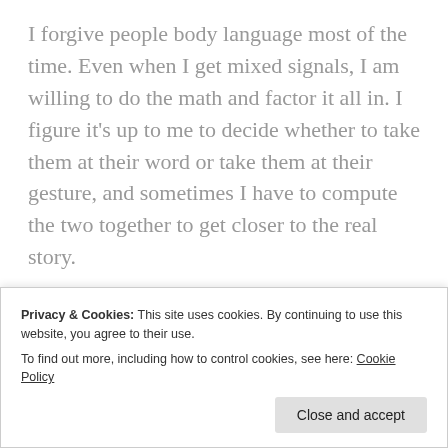I forgive people body language most of the time. Even when I get mixed signals, I am willing to do the math and factor it all in. I figure it's up to me to decide whether to take them at their word or take them at their gesture, and sometimes I have to compute the two together to get closer to the real story.

An example would be a typical situation like seeing someone you know and consider a friend at the grocery story. They are in a hurry. They greet you welcomingly, yet their body language suggests
Privacy & Cookies: This site uses cookies. By continuing to use this website, you agree to their use.
To find out more, including how to control cookies, see here: Cookie Policy

[Close and accept]
they see you. It says "hello," and "I must be going."